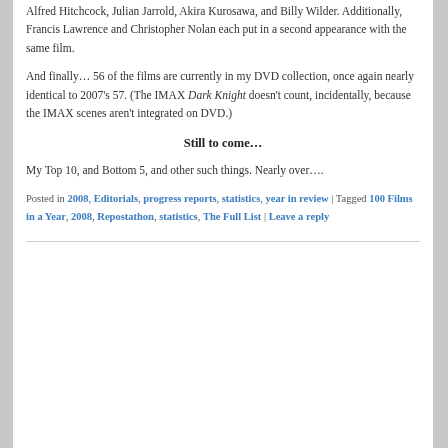Alfred Hitchcock, Julian Jarrold, Akira Kurosawa, and Billy Wilder. Additionally, Francis Lawrence and Christopher Nolan each put in a second appearance with the same film.
And finally… 56 of the films are currently in my DVD collection, once again nearly identical to 2007's 57. (The IMAX Dark Knight doesn't count, incidentally, because the IMAX scenes aren't integrated on DVD.)
Still to come…
My Top 10, and Bottom 5, and other such things. Nearly over….
Posted in 2008, Editorials, progress reports, statistics, year in review | Tagged 100 Films in a Year, 2008, Repostathon, statistics, The Full List | Leave a reply